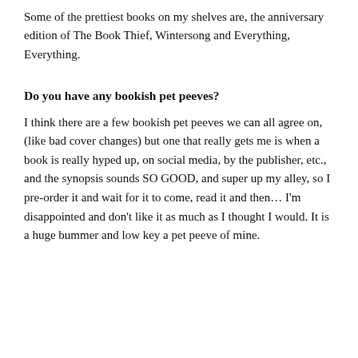Some of the prettiest books on my shelves are, the anniversary edition of The Book Thief, Wintersong and Everything, Everything.
Do you have any bookish pet peeves?
I think there are a few bookish pet peeves we can all agree on, (like bad cover changes) but one that really gets me is when a book is really hyped up, on social media, by the publisher, etc., and the synopsis sounds SO GOOD, and super up my alley, so I pre-order it and wait for it to come, read it and then… I'm disappointed and don't like it as much as I thought I would. It is a huge bummer and low key a pet peeve of mine.